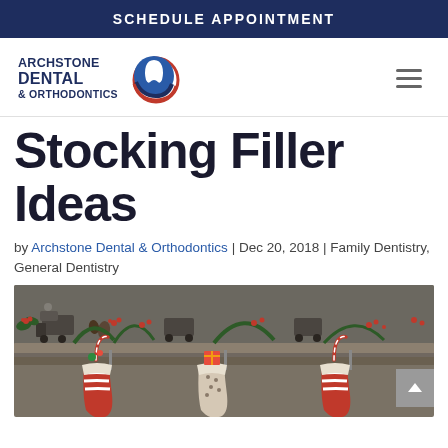SCHEDULE APPOINTMENT
[Figure (logo): Archstone Dental & Orthodontics logo with tooth icon and blue/red arc]
Stocking Filler Ideas
by Archstone Dental & Orthodontics | Dec 20, 2018 | Family Dentistry, General Dentistry
[Figure (photo): Christmas stockings hanging from a fireplace mantel decorated with toy trains, pinecones, holly, and red berries. Stockings are red and white striped with candy canes inside.]